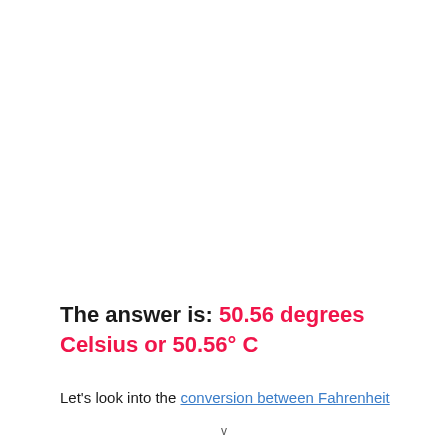The answer is: 50.56 degrees Celsius or 50.56° C
Let's look into the conversion between Fahrenheit
v